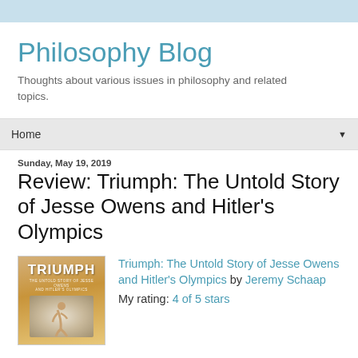Philosophy Blog
Thoughts about various issues in philosophy and related topics.
Home
Sunday, May 19, 2019
Review: Triumph: The Untold Story of Jesse Owens and Hitler's Olympics
[Figure (illustration): Book cover of Triumph: The Untold Story of Jesse Owens and Hitler's Olympics, showing the title in large orange text with a figure of a runner at the bottom]
Triumph: The Untold Story of Jesse Owens and Hitler's Olympics by Jeremy Schaap
My rating: 4 of 5 stars